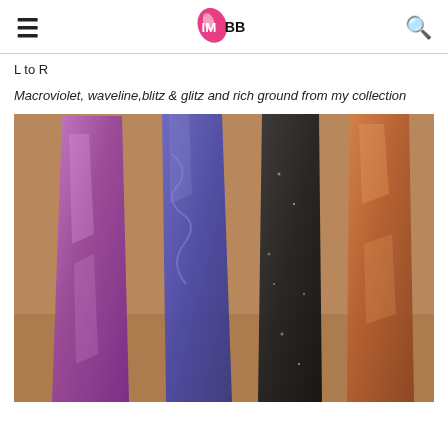IMBB
L to R
Macroviolet, waveline,blitz & glitz and rich ground from my collection
[Figure (photo): Four makeup swatches on skin, left to right: metallic purple (Macroviolet), blue-purple (waveline), dark grey/black glitter (blitz & glitz), and bronze/copper (rich ground).]